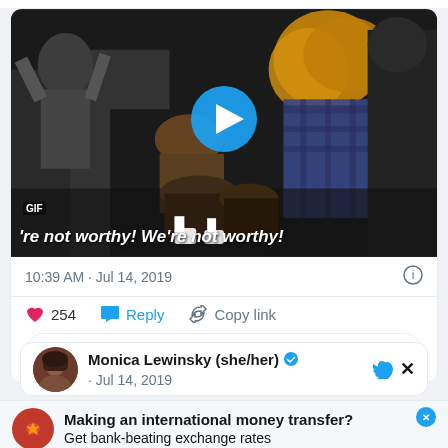[Figure (screenshot): GIF thumbnail showing people bowing/kneeling with text overlay: GIF e're not worthy! We're not worthy! with a blue play button circle in the center]
10:39 AM · Jul 14, 2019
254  Reply  Copy link
Read 1 reply
Monica Lewinsky (she/her) ✓ · Jul 14, 2019
Making an international money transfer? Get bank-beating exchange rates